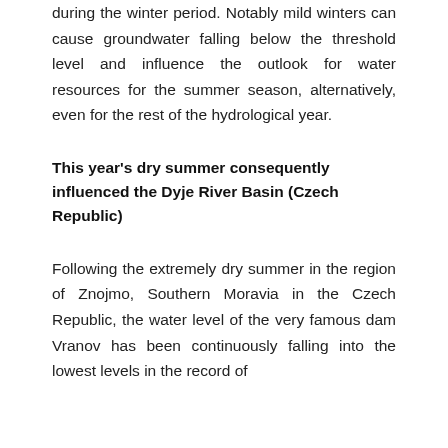during the winter period. Notably mild winters can cause groundwater falling below the threshold level and influence the outlook for water resources for the summer season, alternatively, even for the rest of the hydrological year.
This year's dry summer consequently influenced the Dyje River Basin (Czech Republic)
Following the extremely dry summer in the region of Znojmo, Southern Moravia in the Czech Republic, the water level of the very famous dam Vranov has been continuously falling into the lowest levels in the record of